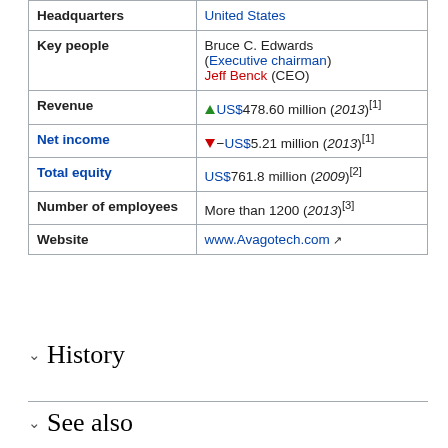| Field | Value |
| --- | --- |
| Headquarters | United States |
| Key people | Bruce C. Edwards (Executive chairman) Jeff Benck (CEO) |
| Revenue | ▲ US$478.60 million (2013)[1] |
| Net income | ▼ −US$5.21 million (2013)[1] |
| Total equity | US$761.8 million (2009)[2] |
| Number of employees | More than 1200 (2013)[3] |
| Website | www.Avagotech.com |
History
See also